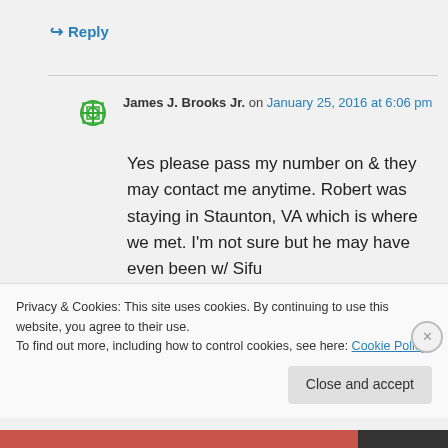↪ Reply
James J. Brooks Jr. on January 25, 2016 at 6:06 pm
Yes please pass my number on & they may contact me anytime. Robert was staying in Staunton, VA which is where we met. I'm not sure but he may have even been w/ Sifu
Privacy & Cookies: This site uses cookies. By continuing to use this website, you agree to their use.
To find out more, including how to control cookies, see here: Cookie Policy
Close and accept